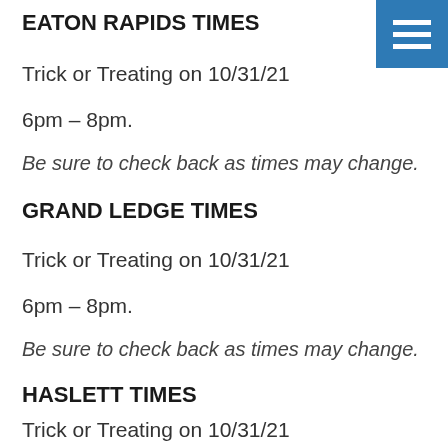EATON RAPIDS TIMES
Trick or Treating on 10/31/21
6pm – 8pm.
Be sure to check back as times may change.
GRAND LEDGE TIMES
Trick or Treating on 10/31/21
6pm – 8pm.
Be sure to check back as times may change.
HASLETT TIMES
Trick or Treating on 10/31/21
6pm – 8pm.
Be sure to check back as times may change.